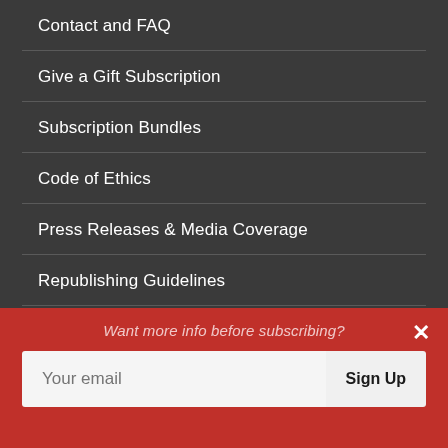Contact and FAQ
Give a Gift Subscription
Subscription Bundles
Code of Ethics
Press Releases & Media Coverage
Republishing Guidelines
Corrections
Want more info before subscribing?
Your email
Sign Up